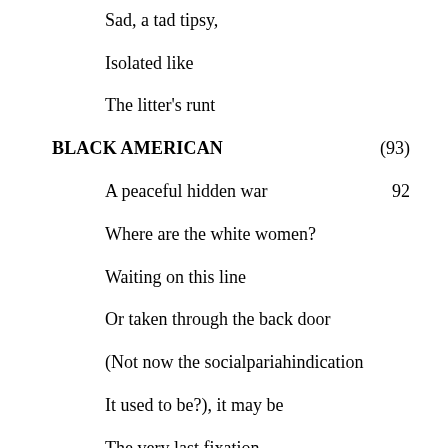Sad, a tad tipsy,
Isolated like
The litter's runt
BLACK AMERICAN (93)
A peaceful hidden war 92
Where are the white women?
Waiting on this line
Or taken through the back door
(Not now the socialpariahindication
It used to be?), it may be
The very last fixation